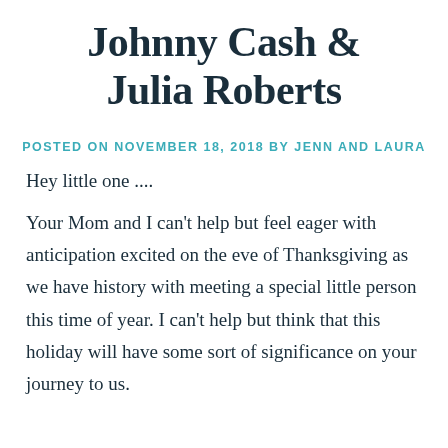Johnny Cash & Julia Roberts
POSTED ON NOVEMBER 18, 2018 BY JENN AND LAURA
Hey little one ....
Your Mom and I can’t help but feel eager with anticipation excited on the eve of Thanksgiving as we have history with meeting a special little person this time of year. I can’t help but think that this holiday will have some sort of significance on your journey to us.